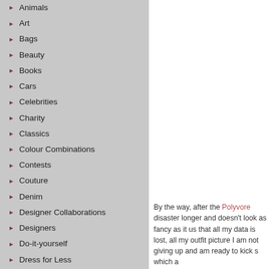Animals
Art
Bags
Beauty
Books
Cars
Celebrities
Charity
Classics
Colour Combinations
Contests
Couture
Denim
Designer Collaborations
Designers
Do-it-yourself
Dress for Less
Dresses
Events
Exhibitions
Fall/Winter 2010
Fall/Winter 2011
By the way, after the Polyvore disaster longer and doesn't look as fancy as it us that all my data is lost, all my outfit picture I am not giving up and am ready to kick s which a